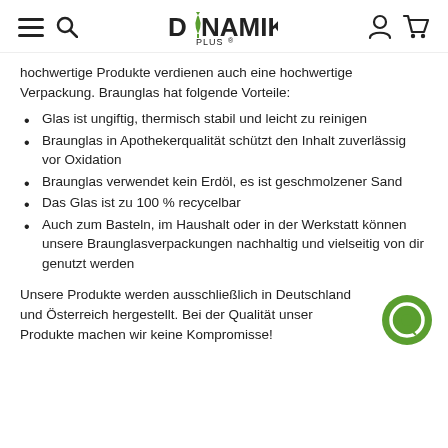DYNAMIK PLUS
hochwertige Produkte verdienen auch eine hochwertige Verpackung. Braunglas hat folgende Vorteile:
Glas ist ungiftig, thermisch stabil und leicht zu reinigen
Braunglas in Apothekerqualität schützt den Inhalt zuverlässig vor Oxidation
Braunglas verwendet kein Erdöl, es ist geschmolzener Sand
Das Glas ist zu 100 % recycelbar
Auch zum Basteln, im Haushalt oder in der Werkstatt können unsere Braunglasverpackungen nachhaltig und vielseitig von dir genutzt werden
Unsere Produkte werden ausschließlich in Deutschland und Österreich hergestellt. Bei der Qualität unserer Produkte machen wir keine Kompromisse!